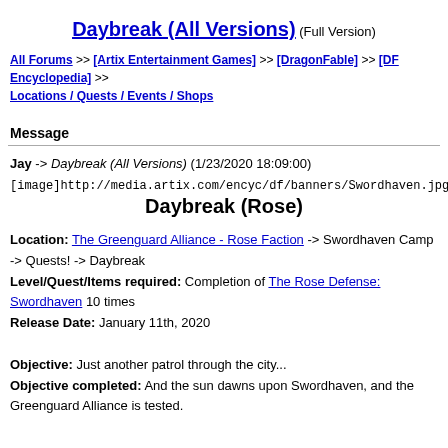Daybreak (All Versions) (Full Version)
All Forums >> [Artix Entertainment Games] >> [DragonFable] >> [DF Encyclopedia] >> Locations / Quests / Events / Shops
Message
Jay -> Daybreak (All Versions) (1/23/2020 18:09:00)
[image]http://media.artix.com/encyc/df/banners/Swordhaven.jpg[/image]
Daybreak (Rose)
Location: The Greenguard Alliance - Rose Faction -> Swordhaven Camp -> Quests! -> Daybreak
Level/Quest/Items required: Completion of The Rose Defense: Swordhaven 10 times
Release Date: January 11th, 2020

Objective: Just another patrol through the city...
Objective completed: And the sun dawns upon Swordhaven, and the Greenguard Alliance is tested.